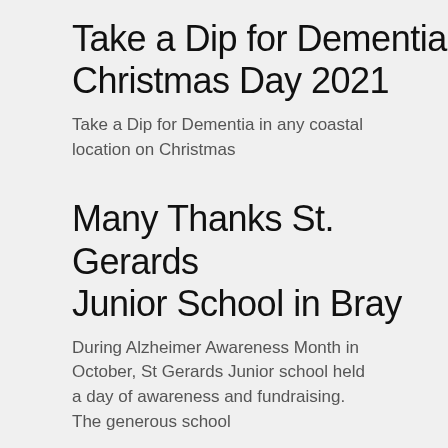Take a Dip for Dementia Christmas Day 2021
Take a Dip for Dementia in any coastal location on Christmas
Many Thanks St. Gerards Junior School in Bray
During Alzheimer Awareness Month in October, St Gerards Junior school held a day of awareness and fundraising. The generous school
Help Us Raise Funds and Have A Chance to Win This Gorgeous Quilt